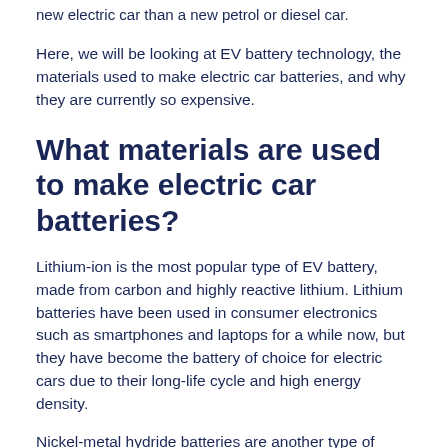new electric car than a new petrol or diesel car.
Here, we will be looking at EV battery technology, the materials used to make electric car batteries, and why they are currently so expensive.
What materials are used to make electric car batteries?
Lithium-ion is the most popular type of EV battery, made from carbon and highly reactive lithium. Lithium batteries have been used in consumer electronics such as smartphones and laptops for a while now, but they have become the battery of choice for electric cars due to their long-life cycle and high energy density.
Nickel-metal hydride batteries are another type of battery typically used in hybrid vehicles. These batteries are made from hydrogen and nickel. Nickel-metal hydride batteries can hold the same energy and are cheaper